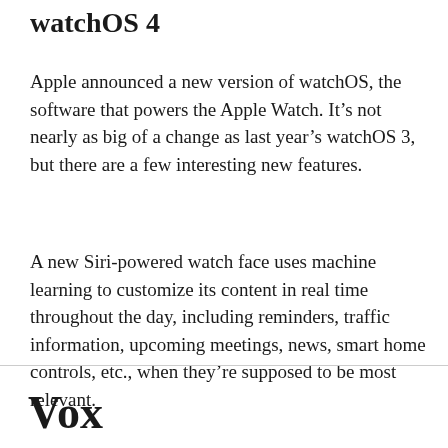watchOS 4
Apple announced a new version of watchOS, the software that powers the Apple Watch. It’s not nearly as big of a change as last year’s watchOS 3, but there are a few interesting new features.
A new Siri-powered watch face uses machine learning to customize its content in real time throughout the day, including reminders, traffic information, upcoming meetings, news, smart home controls, etc., when they’re supposed to be most relevant.
Vox